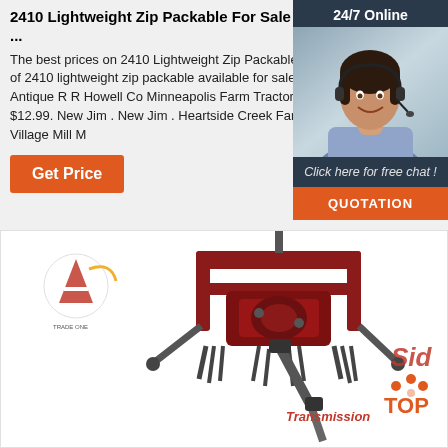2410 Lightweight Zip Packable For Sale - Farm Equipment ...
The best prices on 2410 Lightweight Zip Packable! Shop a wide variety of 2410 lightweight zip packable available for sale now on the internet. ... Antique R R Howell Co Minneapolis Farm Tractor Machine Mill Brochure. $12.99. New Jim . New Jim . Heartside Creek Farm House Salt Box Village Mill M
[Figure (screenshot): Orange 'Get Price' button]
[Figure (infographic): 24/7 Online chat widget with woman wearing headset, 'Click here for free chat!' text, and orange QUOTATION button]
[Figure (photo): Farm equipment tiller/rotary cultivator with red frame and PTO shaft, with brand logo, partial 'Sid' text, and 'Transmission' text overlay; TransmissionTop.com logo in bottom right]